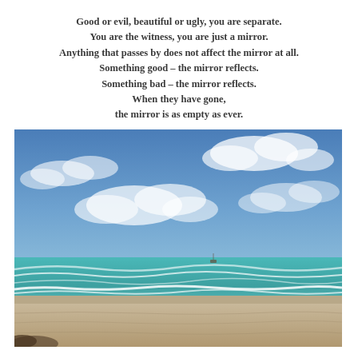Good or evil, beautiful or ugly, you are separate. You are the witness, you are just a mirror. Anything that passes by does not affect the mirror at all. Something good – the mirror reflects. Something bad – the mirror reflects. When they have gone, the mirror is as empty as ever.
[Figure (photo): A beach scene with blue sky, white clouds, turquoise ocean waves, white foam on shore, and sandy beach in the foreground.]